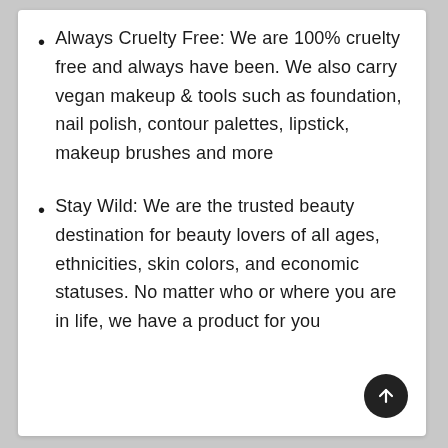Always Cruelty Free: We are 100% cruelty free and always have been. We also carry vegan makeup & tools such as foundation, nail polish, contour palettes, lipstick, makeup brushes and more
Stay Wild: We are the trusted beauty destination for beauty lovers of all ages, ethnicities, skin colors, and economic statuses. No matter who or where you are in life, we have a product for you